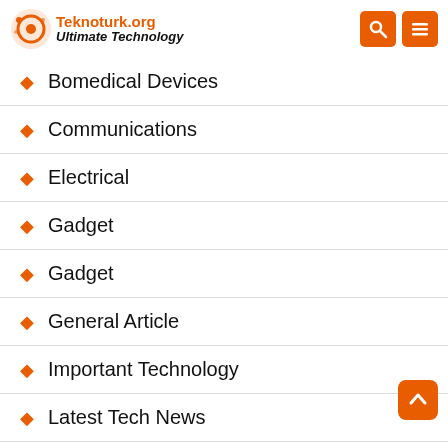Teknoturk.org Ultimate Technology
Bomedical Devices
Communications
Electrical
Gadget
Gadget
General Article
Important Technology
Latest Tech News
Latest Tech News